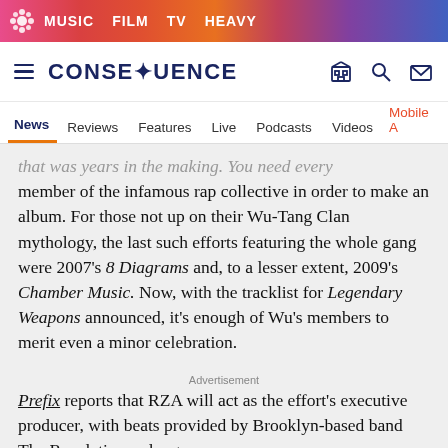MUSIC  FILM  TV  HEAVY
CONSEQUENCE
News  Reviews  Features  Live  Podcasts  Videos  Mobile A
that was years in the making. You need every member of the infamous rap collective in order to make an album. For those not up on their Wu-Tang Clan mythology, the last such efforts featuring the whole gang were 2007's 8 Diagrams and, to a lesser extent, 2009's Chamber Music. Now, with the tracklist for Legendary Weapons announced, it's enough of Wu's members to merit even a minor celebration.
Prefix reports that RZA will act as the effort's executive producer, with beats provided by Brooklyn-based band The Revelations, along